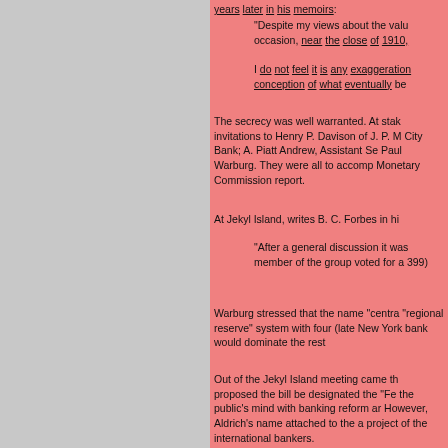years later in his memoirs:
"Despite my views about the valu occasion, near the close of 1910,
I do not feel it is any exaggeration conception of what eventually be
The secrecy was well warranted. At stak invitations to Henry P. Davison of J. P. M City Bank; A. Piatt Andrew, Assistant Se Paul Warburg. They were all to accomp Monetary Commission report.
At Jekyl Island, writes B. C. Forbes in hi
"After a general discussion it was member of the group voted for a 399)
Warburg stressed that the name "centra "regional reserve" system with four (late New York bank would dominate the rest
Out of the Jekyl Island meeting came th proposed the bill be designated the "Fe the public's mind with banking reform ar However, Aldrich's name attached to the a project of the international bankers.